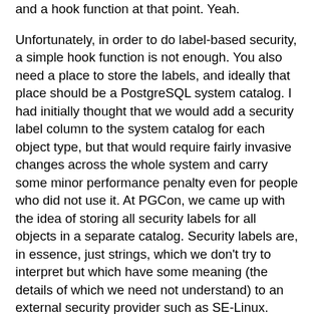and a hook function at that point. Yeah.
Unfortunately, in order to do label-based security, a simple hook function is not enough. You also need a place to store the labels, and ideally that place should be a PostgreSQL system catalog. I had initially thought that we would add a security label column to the system catalog for each object type, but that would require fairly invasive changes across the whole system and carry some minor performance penalty even for people who did not use it. At PGCon, we came up with the idea of storing all security labels for all objects in a separate catalog. Security labels are, in essence, just strings, which we don't try to interpret but which have some meaning (the details of which we need not understand) to an external security provider such as SE-Linux.
As luck would have it, we already have a model for such a facility: the COMMENT statement already knows how to store arbitrary strings which it does not attempt to interpret for arbitrary database objects, using a catalog (actually two catalogs) dedicated to that purpose. Unfortunately, the comment code is quite large, and, as it turned out, buggy, so